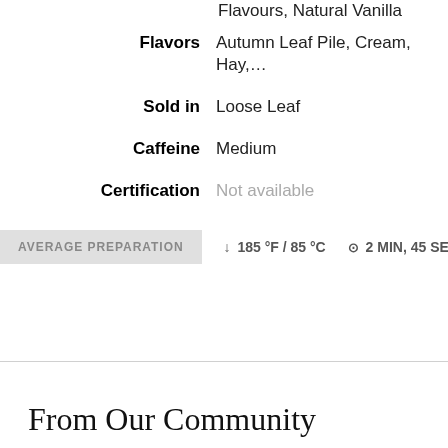Flavours, Natural Vanilla Flavo…
| Flavors | Autumn Leaf Pile, Cream, Hay,… |
| Sold in | Loose Leaf |
| Caffeine | Medium |
| Certification | Not available |
AVERAGE PREPARATION   ↓ 185 °F / 85 °C   ⊙ 2 MIN, 45 SEC
From Our Community